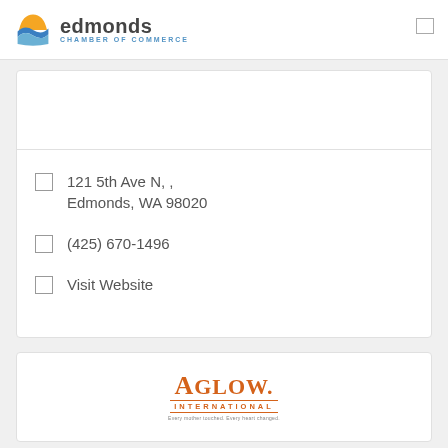edmonds CHAMBER OF COMMERCE
121 5th Ave N, , Edmonds, WA 98020
(425) 670-1496
Visit Website
[Figure (logo): Aglow International logo with orange text and tagline]